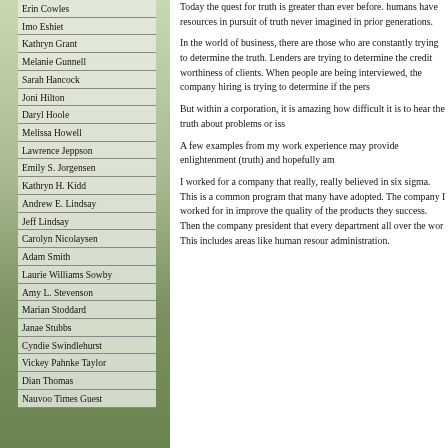Erin Cowles
Imo Eshiet
Kathryn Grant
Melanie Gunnell
Sarah Hancock
Joni Hilton
Daryl Hoole
Melissa Howell
Lawrence Jeppson
Emily S. Jorgensen
Kathryn H. Kidd
Andrew E. Lindsay
Jeff Lindsay
Carolyn Nicolaysen
Adam Smith
Laurie Williams Sowby
Amy L. Stevenson
Marian Stoddard
Janae Stubbs
Cyndie Swindlehurst
Vickey Pahnke Taylor
Dian Thomas
Nauvoo Times Guest
Today the quest for truth is greater than ever before. humans have resources in pursuit of truth never imagined in prior generations.
In the world of business, there are those who are constantly trying to determine the truth. Lenders are trying to determine the credit worthiness of clients. When people are being interviewed, the company hiring is trying to determine if the person...
But within a corporation, it is amazing how difficult it is to hear the truth about problems or issues...
A few examples from my work experience may provide enlightenment (truth) and hopefully am...
I worked for a company that really, really believed in six sigma. This is a common program that many have adopted. The company I worked for implemented it to improve the quality of the products they made with great success. Then the company president decided that every department all over the world had to use it. This includes areas like human resources and administration.